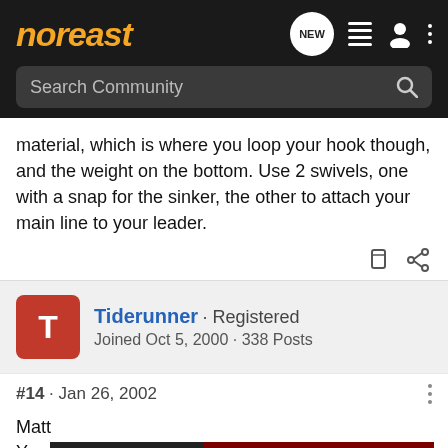noreast
Search Community
material, which is where you loop your hook though, and the weight on the bottom. Use 2 swivels, one with a snap for the sinker, the other to attach your main line to your leader.
Tiderunner · Registered
Joined Oct 5, 2000 · 338 Posts
#14 · Jan 26, 2002
Matt
You can... uni-knot an... if you
[Figure (screenshot): Advertisement banner: YOUR NEW FAVORITE SPORT - EXPLORE HOW TO RESPONSIBLY PARTICIPATE IN THE SHOOTING SPORTS. START HERE!]